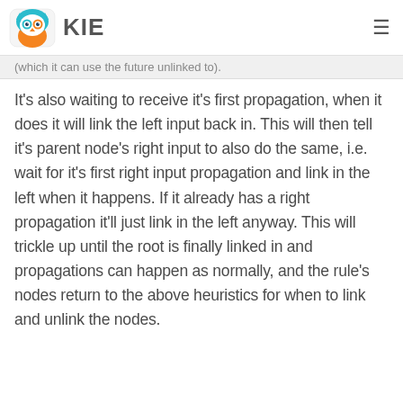KIE
(which it can use the future unlinked to).
It's also waiting to receive it's first propagation, when it does it will link the left input back in. This will then tell it's parent node's right input to also do the same, i.e. wait for it's first right input propagation and link in the left when it happens. If it already has a right propagation it'll just link in the left anyway. This will trickle up until the root is finally linked in and propagations can happen as normally, and the rule's nodes return to the above heuristics for when to link and unlink the nodes.